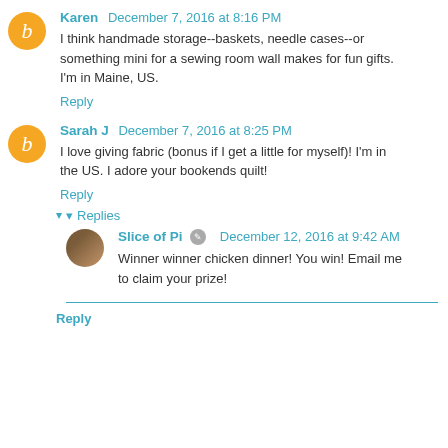Karen December 7, 2016 at 8:16 PM
I think handmade storage--baskets, needle cases--or something mini for a sewing room wall makes for fun gifts. I'm in Maine, US.
Reply
Sarah J December 7, 2016 at 8:25 PM
I love giving fabric (bonus if I get a little for myself)! I'm in the US. I adore your bookends quilt!
Reply
Replies
Slice of Pi December 12, 2016 at 9:42 AM
Winner winner chicken dinner! You win! Email me to claim your prize!
Reply